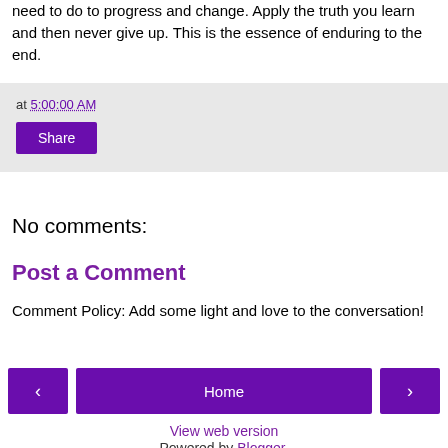need to do to progress and change. Apply the truth you learn and then never give up. This is the essence of enduring to the end.
at 5:00:00 AM
Share
No comments:
Post a Comment
Comment Policy: Add some light and love to the conversation!
‹
Home
›
View web version
Powered by Blogger.